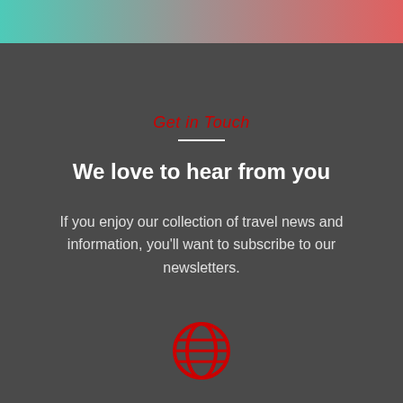[Figure (illustration): Gradient color bar at top of page transitioning from teal/green on left to rosy red on right]
Get in Touch
We love to hear from you
If you enjoy our collection of travel news and information, you'll want to subscribe to our newsletters.
[Figure (illustration): Red globe/world icon with horizontal lines and circular frame]